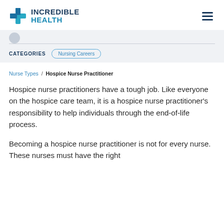INCREDIBLE HEALTH
CATEGORIES  Nursing Careers
Nurse Types / Hospice Nurse Practitioner
Hospice nurse practitioners have a tough job. Like everyone on the hospice care team, it is a hospice nurse practitioner's responsibility to help individuals through the end-of-life process.
Becoming a hospice nurse practitioner is not for every nurse. These nurses must have the right